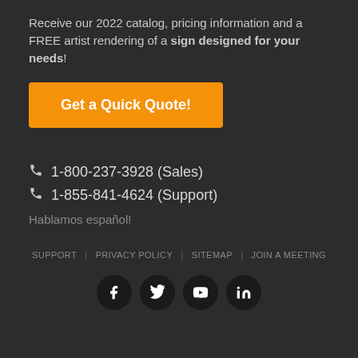Receive our 2022 catalog, pricing information and a FREE artist rendering of a sign designed for your needs!
Get a Quick Quote!
1-800-237-3928 (Sales)
1-855-841-4624 (Support)
Hablamos español!
SUPPORT | PRIVACY POLICY | SITEMAP | JOIN A MEETING
[Figure (infographic): Social media icons: Facebook, Twitter, YouTube, LinkedIn in dark circular buttons]